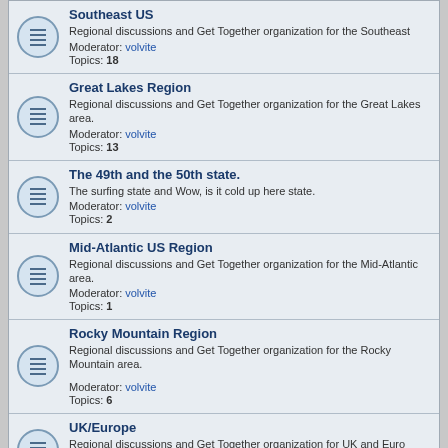Southeast US - Regional discussions and Get Together organization for the Southeast. Moderator: volvite. Topics: 18
Great Lakes Region - Regional discussions and Get Together organization for the Great Lakes area. Moderator: volvite. Topics: 13
The 49th and the 50th state. - The surfing state and Wow, is it cold up here state. Moderator: volvite. Topics: 2
Mid-Atlantic US Region - Regional discussions and Get Together organization for the Mid-Atlantic area. Moderator: volvite. Topics: 1
Rocky Mountain Region - Regional discussions and Get Together organization for the Rocky Mountain area. Moderator: volvite. Topics: 6
UK/Europe - Regional discussions and Get Together organization for UK and Euro market area. Topics: 4
Forum Administration
Test Forum 1 - This is just a test forum.